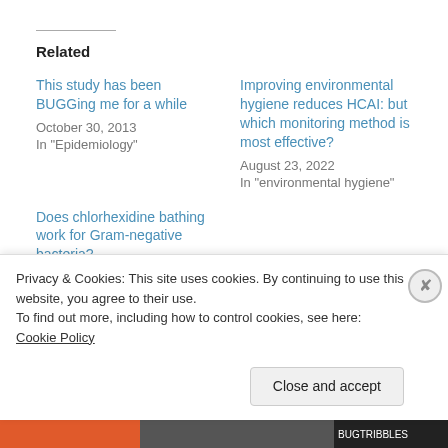Related
This study has been BUGGing me for a while
October 30, 2013
In "Epidemiology"
Improving environmental hygiene reduces HCAI: but which monitoring method is most effective?
August 23, 2022
In "environmental hygiene"
Does chlorhexidine bathing work for Gram-negative bacteria?
January 28, 2015
In "Acinetobacter"
Privacy & Cookies: This site uses cookies. By continuing to use this website, you agree to their use.
To find out more, including how to control cookies, see here: Cookie Policy
Close and accept